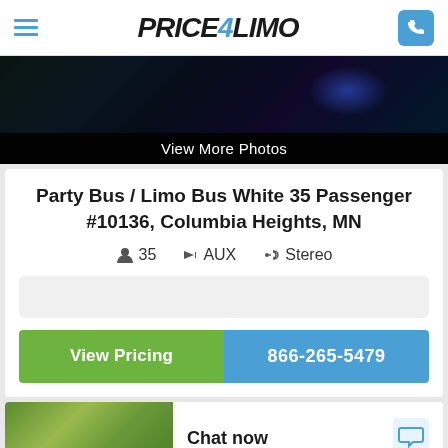Price4Limo
[Figure (photo): Dark photo of party bus/limo interior with blue lighting, showing wheels or interior elements]
View More Photos
Party Bus / Limo Bus White 35 Passenger #10136, Columbia Heights, MN
35  AUX  Stereo
View Pricing   866-265-5479
[Figure (photo): Interior of party bus showing colorful seating]
Chat now